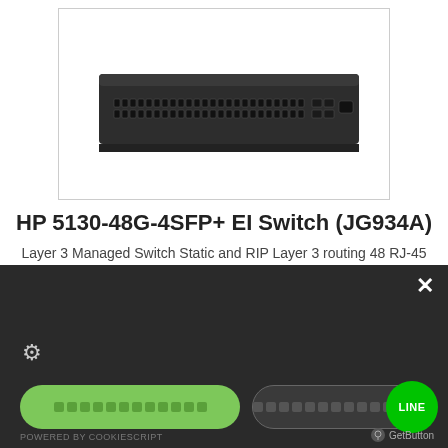[Figure (photo): HP 5130-48G-4SFP+ EI network switch, dark grey 1U rackmount unit with 48 RJ-45 ports and 4 SFP+ uplink ports visible on the front panel]
HP 5130-48G-4SFP+ EI Switch (JG934A)
Layer 3 Managed Switch Static and RIP Layer 3 routing 48 RJ-45
[Figure (screenshot): Dark cookie consent popup overlay with close (X) button, gear/settings icon, a green filled pill button with placeholder text, and a LINE social button with green LINE logo circle on the right. Footer shows 'POWERED BY COOKIESCRIPT' on the left and 'GetButton' on the right.]